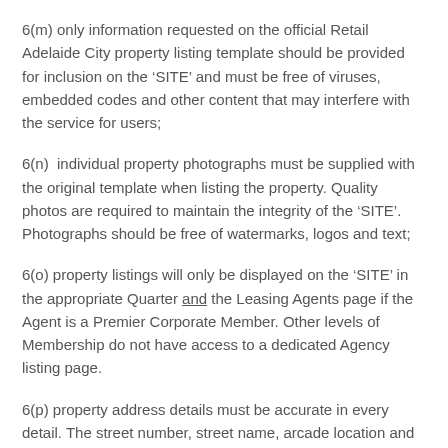6(m) only information requested on the official Retail Adelaide City property listing template should be provided for inclusion on the ‘SITE’ and must be free of viruses, embedded codes and other content that may interfere with the service for users;
6(n)  individual property photographs must be supplied with the original template when listing the property. Quality photos are required to maintain the integrity of the ‘SITE’. Photographs should be free of watermarks, logos and text;
6(o) property listings will only be displayed on the ‘SITE’ in the appropriate Quarter and the Leasing Agents page if the Agent is a Premier Corporate Member. Other levels of Membership do not have access to a dedicated Agency listing page.
6(p) property address details must be accurate in every detail. The street number, street name, arcade location and the correct Quarter details must be included. (Refer to the Five Quarters